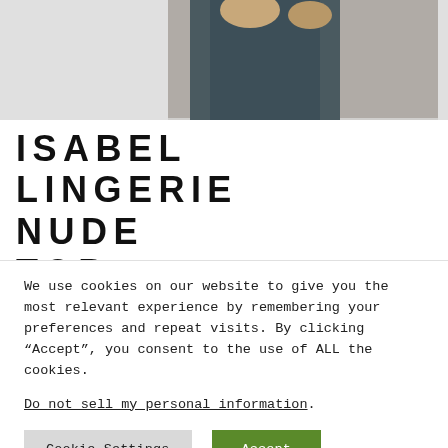[Figure (photo): Partial product photo showing bottom portion of a person wearing a dark blue/grey lingerie top, cropped at waist level]
ISABEL LINGERIE NUDE TOP
We use cookies on our website to give you the most relevant experience by remembering your preferences and repeat visits. By clicking “Accept”, you consent to the use of ALL the cookies.
Do not sell my personal information.
Cookie Settings   Accept